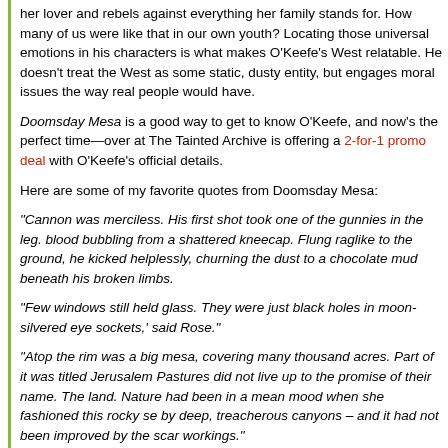her lover and rebels against everything her family stands for. How many of us were like that in our own youth? Locating those universal emotions in his characters is what makes O'Keefe's West relatable. He doesn't treat the West as some static, dusty entity, but engages moral issues the way real people would have.
Doomsday Mesa is a good way to get to know O'Keefe, and now's the perfect time—over at The Tainted Archive is offering a 2-for-1 promo deal with O'Keefe's official details.
Here are some of my favorite quotes from Doomsday Mesa:
“Cannon was merciless. His first shot took one of the gunnies in the leg. blood bubbling from a shattered kneecap. Flung raglike to the ground, he kicked helplessly, churning the dust to a chocolate mud beneath his broken limbs.”
“Few windows still held glass. They were just black holes in moon-silvered eye sockets,’ said Rose.”
“Atop the rim was a big mesa, covering many thousand acres. Part of it was titled Jerusalem Pastures did not live up to the promise of their name. The land. Nature had been in a mean mood when she fashioned this rocky se by deep, treacherous canyons – and it had not been improved by the scar workings.”